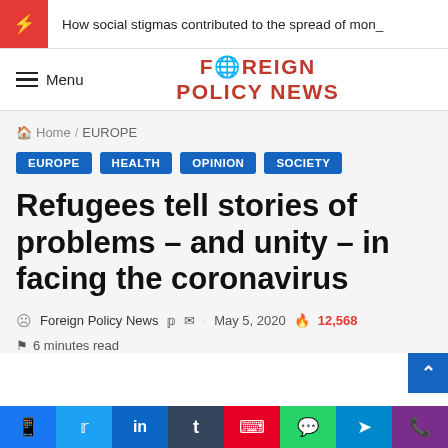How social stigmas contributed to the spread of mon_
FOREIGN POLICY NEWS
Home / EUROPE
EUROPE
HEALTH
OPINION
SOCIETY
Refugees tell stories of problems – and unity – in facing the coronavirus
Foreign Policy News · May 5, 2020 🔥 12,568
6 minutes read